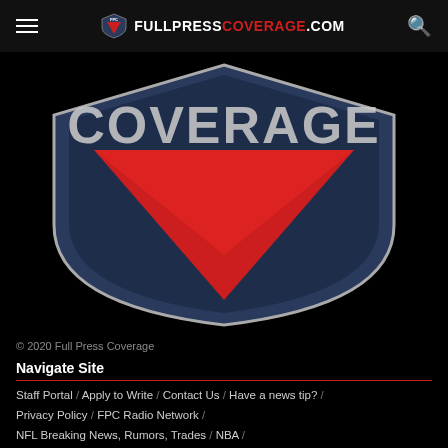FULLPRESSCOVERAGE.COM
[Figure (logo): Full Press Coverage shield logo showing large COVERAGE text with a red triangle/shield shape on black background]
© 2020 Full Press Coverage
Navigate Site
Staff Portal / Apply to Write / Contact Us / Have a news tip? /
Privacy Policy / FPC Radio Network /
NFL Breaking News, Rumors, Trades / NBA /
MLB – Rumors, Breaking News, Opinion, Podcasts /
FullPressHockey.com